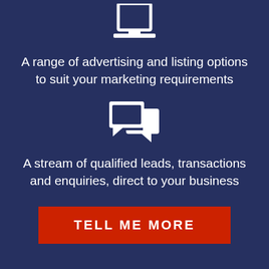[Figure (illustration): White laptop/monitor icon on dark navy background]
A range of advertising and listing options to suit your marketing requirements
[Figure (illustration): White speech bubble / chat icon on dark navy background]
A stream of qualified leads, transactions and enquiries, direct to your business
TELL ME MORE